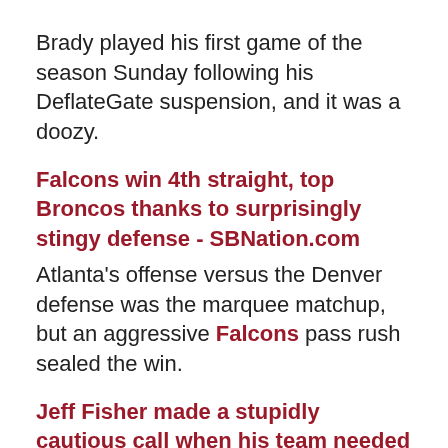Brady played his first game of the season Sunday following his DeflateGate suspension, and it was a doozy.
Falcons win 4th straight, top Broncos thanks to surprisingly stingy defense - SBNation.com
Atlanta's offense versus the Denver defense was the marquee matchup, but an aggressive Falcons pass rush sealed the win.
Jeff Fisher made a stupidly cautious call when his team needed a risk and a stupidly risky call when his team needed caution - SBNation.com
Jeff Fisher made a pair of questionable calls late, and the Rams lost.